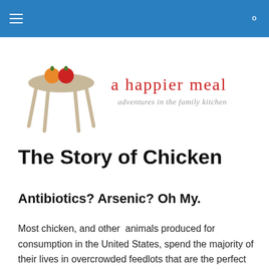[navigation bar with hamburger menu and search icon]
[Figure (logo): A happier meal logo: illustration of a table with an orange and a red apple on top, beside the text 'a happier meal' in red serif font and 'adventures in the family kitchen' in italic gray serif font]
The Story of Chicken
Antibiotics? Arsenic? Oh My.
Most chicken, and other  animals produced for consumption in the United States, spend the majority of their lives in overcrowded feedlots that are the perfect breeding grounds for disease. As a result, they are routinely given antibiotics in their food, to prevent infection